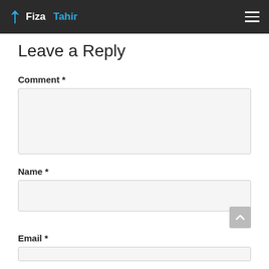Fiza Tahir
Leave a Reply
Comment *
Name *
Email *